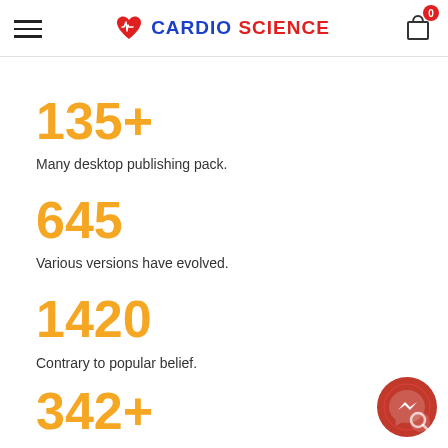CARDIO SCIENCE
135+
Many desktop publishing pack.
645
Various versions have evolved.
1420
Contrary to popular belief.
342+
[Figure (illustration): Red circular Messenger chat button in bottom right corner]